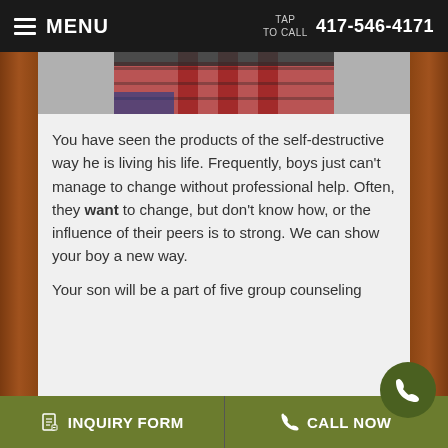MENU   TAP TO CALL   417-546-4171
[Figure (photo): Partial photo of a person wearing a red plaid shirt, cropped at the top of the content area]
You have seen the products of the self-destructive way he is living his life. Frequently, boys just can't manage to change without professional help. Often, they want to change, but don't know how, or the influence of their peers is to strong. We can show your boy a new way.
Your son will be a part of five group counseling
INQUIRY FORM   CALL NOW